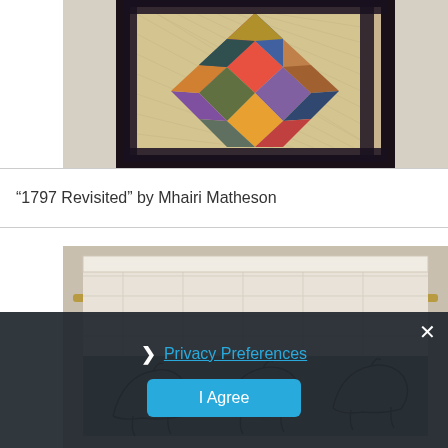[Figure (photo): Photo of a quilted wall hanging with patchwork diamond pattern in center made of colorful fabrics, surrounded by dark border, hanging on a white wall.]
“1797 Revisited” by Mhairi Matheson
[Figure (photo): Photo of a white/cream quilted fabric piece hanging on a rod, with dark embroidered or printed horse/animal figures visible on a lower dark section.]
Privacy Preferences
I Agree